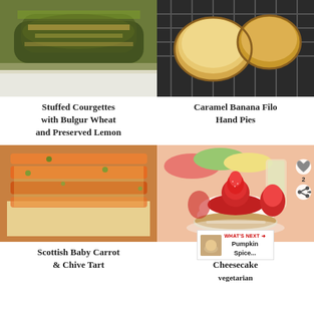[Figure (photo): Stuffed courgettes topped with bulgur wheat and preserved lemon, baked golden]
Stuffed Courgettes with Bulgur Wheat and Preserved Lemon
[Figure (photo): Caramel banana filo hand pies on a cooling rack]
Caramel Banana Filo Hand Pies
[Figure (photo): Scottish baby carrot and chive tart with roasted carrots on pastry base]
Scottish Baby Carrot & Chive Tart
[Figure (photo): Mini strawberry cheesecakes topped with fresh strawberries on a white plate]
Mini Strawberry Cheesecake vegetarian
WHAT'S NEXT → Pumpkin Spice...